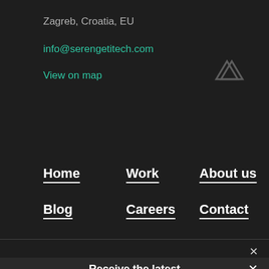Zagreb, Croatia, EU
info@serengetitech.com
View on map
[Figure (logo): Serengeti Tech logo mark in grey, top-right area]
Home
Work
About us
Blog
Careers
Contact
Receive the latest information on business and technology trends straight to your inbox!
We use cookies to ensure that we give you the best experience on our website. If you continue to use this site we will assume that you are happy with it.
Ok
Privacy policy